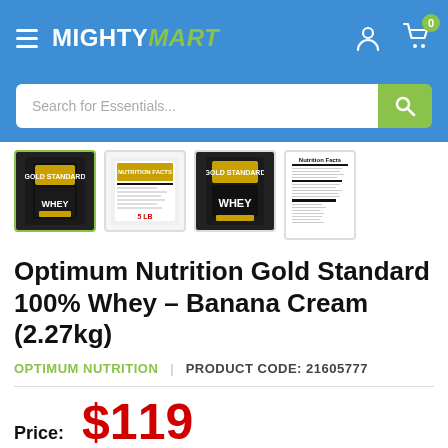MIGHTYMART
[Figure (screenshot): Search bar with placeholder 'Search for Essentials...' and green search button]
[Figure (photo): Four product thumbnail images of Optimum Nutrition Gold Standard 100% Whey protein product - front, back label, side, and nutrition facts panel]
Optimum Nutrition Gold Standard 100% Whey - Banana Cream (2.27kg)
OPTIMUM NUTRITION | PRODUCT CODE: 21605777
Price: $119